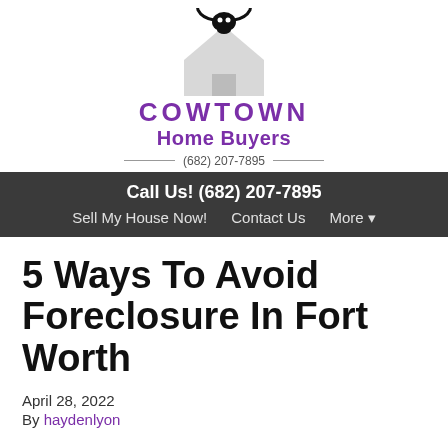[Figure (logo): Cowtown Home Buyers logo with longhorn skull icon above a house silhouette, purple text reading COWTOWN Home Buyers with phone number (682) 207-7895]
Call Us! (682) 207-7895
Sell My House Now!   Contact Us   More ▾
5 Ways To Avoid Foreclosure In Fort Worth
April 28, 2022
By haydenlyon